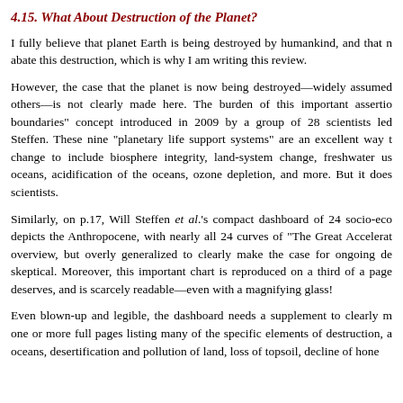4.15. What About Destruction of the Planet?
I fully believe that planet Earth is being destroyed by humankind, and that n abate this destruction, which is why I am writing this review.
However, the case that the planet is now being destroyed—widely assumed others—is not clearly made here. The burden of this important assertio boundaries" concept introduced in 2009 by a group of 28 scientists led Steffen. These nine "planetary life support systems" are an excellent way t change to include biosphere integrity, land-system change, freshwater us oceans, acidification of the oceans, ozone depletion, and more. But it does scientists.
Similarly, on p.17, Will Steffen et al.'s compact dashboard of 24 socio-eco depicts the Anthropocene, with nearly all 24 curves of "The Great Accelerat overview, but overly generalized to clearly make the case for ongoing de skeptical. Moreover, this important chart is reproduced on a third of a page deserves, and is scarcely readable—even with a magnifying glass!
Even blown-up and legible, the dashboard needs a supplement to clearly m one or more full pages listing many of the specific elements of destruction, a oceans, desertification and pollution of land, loss of topsoil, decline of hone